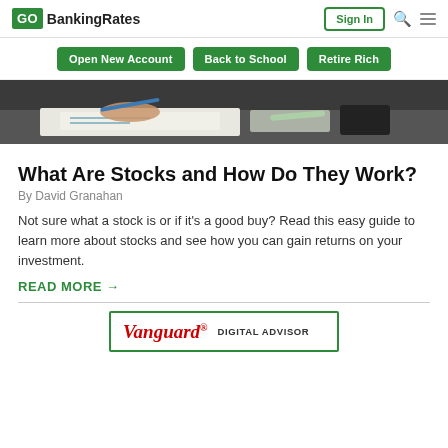GOBankingRates — Sign In
Open New Account | Back to School | Retire Rich
[Figure (photo): A person writing at a desk with papers and pens visible]
What Are Stocks and How Do They Work?
By David Granahan
Not sure what a stock is or if it's a good buy? Read this easy guide to learn more about stocks and see how you can gain returns on your investment.
READ MORE →
[Figure (logo): Vanguard Digital Advisor advertisement block at the bottom of the page]